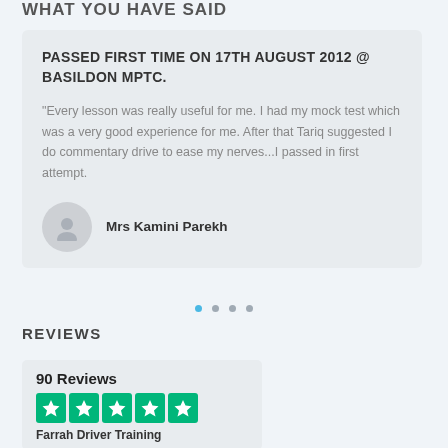WHAT YOU HAVE SAID
PASSED FIRST TIME ON 17TH AUGUST 2012 @ BASILDON MPTC.
"Every lesson was really useful for me. I had my mock test which was a very good experience for me. After that Tariq suggested I do commentary drive to ease my nerves...I passed in first attempt.
Mrs Kamini Parekh
REVIEWS
90 Reviews
Farrah Driver Training